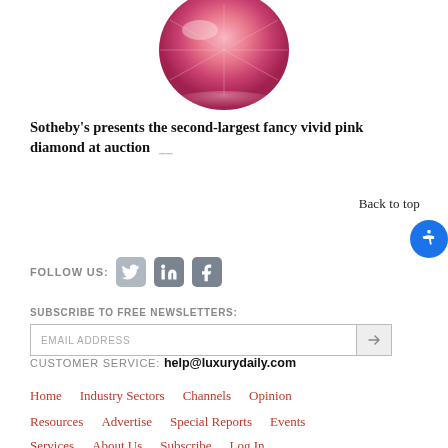[Figure (photo): Pink diamond gemstone (partially visible, cropped at top) with reflection below it on white background]
Sotheby's presents the second-largest fancy vivid pink diamond at auction
Back to top
[Figure (infographic): FOLLOW US: Twitter, LinkedIn, and Facebook social media icons]
SUBSCRIBE TO FREE NEWSLETTERS: EMAIL ADDRESS
CUSTOMER SERVICE: help@luxurydaily.com
Home
Industry Sectors
Channels
Opinion
Resources
Advertise
Special Reports
Events
Services
About Us
Subscribe
Log In